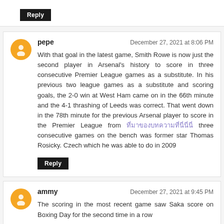Reply
pepe — December 27, 2021 at 8:06 PM
With that goal in the latest game, Smith Rowe is now just the second player in Arsenal's history to score in three consecutive Premier League games as a substitute. In his previous two league games as a substitute and scoring goals, the 2-0 win at West Ham came on in the 66th minute and the 4-1 thrashing of Leeds was correct. That went down in the 78th minute for the previous Arsenal player to score in the Premier League from [link] three consecutive games on the bench was former star Thomas Rosicky. Czech which he was able to do in 2009
Reply
ammy — December 27, 2021 at 9:45 PM
The scoring in the most recent game saw Saka score on Boxing Day for the second time in a row of a bottom copy previous text is cut off